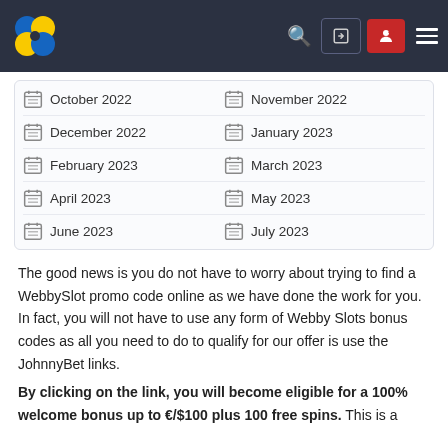Navigation bar with logo, search, login, register, and menu icons
October 2022
November 2022
December 2022
January 2023
February 2023
March 2023
April 2023
May 2023
June 2023
July 2023
The good news is you do not have to worry about trying to find a WebbySlot promo code online as we have done the work for you. In fact, you will not have to use any form of Webby Slots bonus codes as all you need to do to qualify for our offer is use the JohnnyBet links.
By clicking on the link, you will become eligible for a 100% welcome bonus up to €/$100 plus 100 free spins. This is a